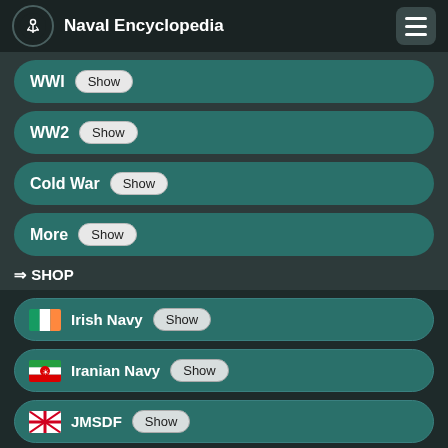Naval Encyclopedia
WWI Show
WW2 Show
Cold War Show
More Show
⇒ SHOP
Irish Navy Show
Iranian Navy Show
JMSDF Show
Marine Francaise Show